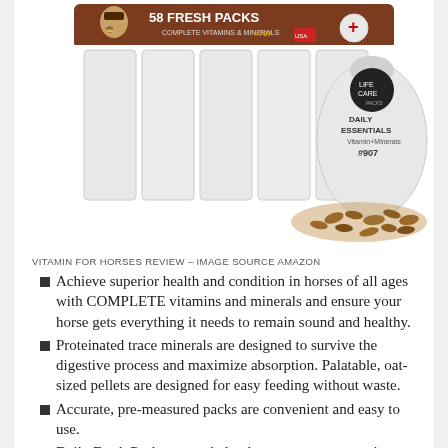[Figure (photo): Product photo showing 58 Fresh Packs vitamin supplement for horses and a bag of 907 Life Care Daily Essentials with pellets spilled out, branded with cowboy image and USA label.]
VITAMIN FOR HORSES REVIEW – IMAGE SOURCE AMAZON
Achieve superior health and condition in horses of all ages with COMPLETE vitamins and minerals and ensure your horse gets everything it needs to remain sound and healthy.
Proteinated trace minerals are designed to survive the digestive process and maximize absorption. Palatable, oat-sized pellets are designed for easy feeding without waste.
Accurate, pre-measured packs are convenient and easy to use.
Daily Fresh Packs are sealed to keep out oxygen, moisture and sunlight, and are convenient for traveling or to avoid daily measuring for feeding.